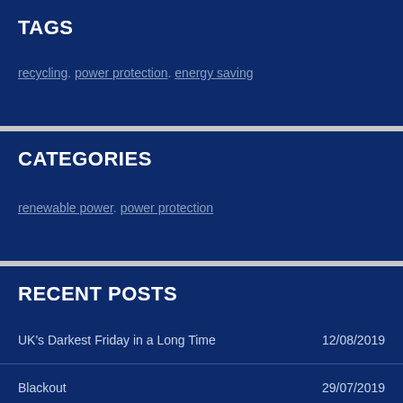TAGS
recycling. power protection. energy saving
CATEGORIES
renewable power. power protection
RECENT POSTS
UK's Darkest Friday in a Long Time    12/08/2019
Blackout    29/07/2019